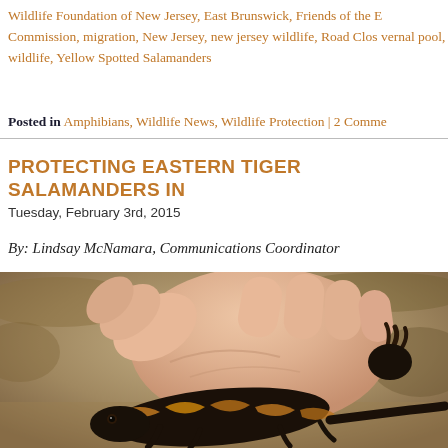Wildlife Foundation of New Jersey, East Brunswick, Friends of the E Commission, migration, New Jersey, new jersey wildlife, Road Clos vernal pool, wildlife, Yellow Spotted Salamanders
Posted in Amphibians, Wildlife News, Wildlife Protection | 2 Comme
PROTECTING EASTERN TIGER SALAMANDERS IN
Tuesday, February 3rd, 2015
By: Lindsay McNamara, Communications Coordinator
[Figure (photo): A close-up photo of a hand holding an Eastern Tiger Salamander. The salamander has distinctive black and yellow/orange striped markings. The background is blurred brown and tan natural scenery.]